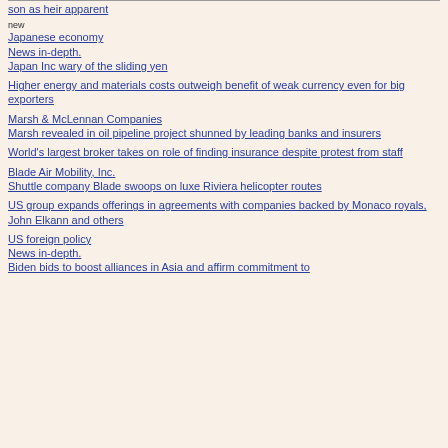son as heir apparent
new
Japanese economy
News in-depth.
Japan Inc wary of the sliding yen
Higher energy and materials costs outweigh benefit of weak currency even for big exporters
Marsh & McLennan Companies
Marsh revealed in oil pipeline project shunned by leading banks and insurers
World's largest broker takes on role of finding insurance despite protest from staff
Blade Air Mobility, Inc.
Shuttle company Blade swoops on luxe Riviera helicopter routes
US group expands offerings in agreements with companies backed by Monaco royals, John Elkann and others
US foreign policy
News in-depth.
Biden bids to boost alliances in Asia and affirm commitment to